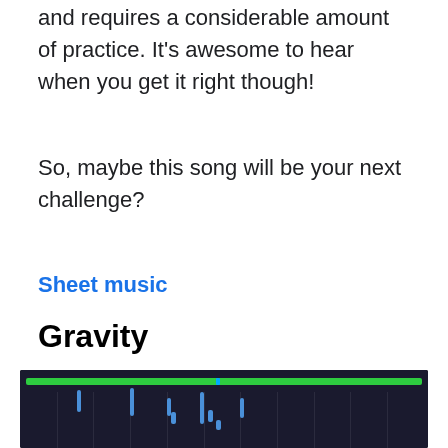and requires a considerable amount of practice. It's awesome to hear when you get it right though!
So, maybe this song will be your next challenge?
Sheet music
Gravity
[Figure (screenshot): Screenshot of a piano roll or music sequencer interface showing blue note blocks on a dark background with a green progress bar at the top.]